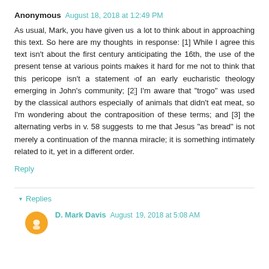Anonymous August 18, 2018 at 12:49 PM
As usual, Mark, you have given us a lot to think about in approaching this text. So here are my thoughts in response: [1] While I agree this text isn't about the first century anticipating the 16th, the use of the present tense at various points makes it hard for me not to think that this pericope isn't a statement of an early eucharistic theology emerging in John's community; [2] I'm aware that "trogo" was used by the classical authors especially of animals that didn't eat meat, so I'm wondering about the contraposition of these terms; and [3] the alternating verbs in v. 58 suggests to me that Jesus "as bread" is not merely a continuation of the manna miracle; it is something intimately related to it, yet in a different order.
Reply
Replies
D. Mark Davis August 19, 2018 at 5:08 AM